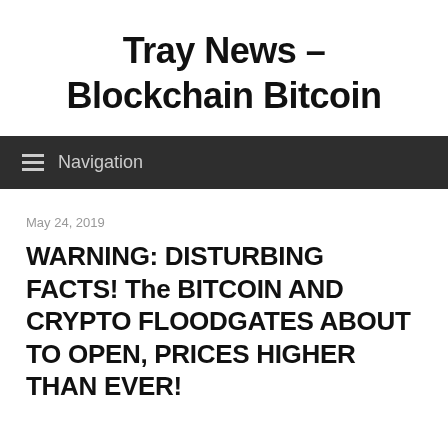Tray News – Blockchain Bitcoin
Navigation
May 24, 2019
WARNING: DISTURBING FACTS! The BITCOIN AND CRYPTO FLOODGATES ABOUT TO OPEN, PRICES HIGHER THAN EVER!